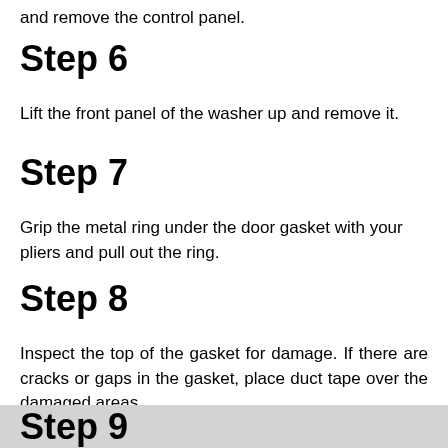and remove the control panel.
Step 6
Lift the front panel of the washer up and remove it.
Step 7
Grip the metal ring under the door gasket with your pliers and pull out the ring.
Step 8
Inspect the top of the gasket for damage. If there are cracks or gaps in the gasket, place duct tape over the damaged areas.
Step 9